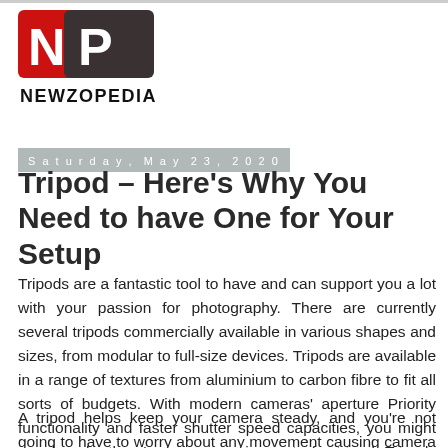[Figure (logo): Newzopedia logo: red square with white N, dark grey square with white P, text NEWZOPEDIA below]
Saturday, May 23, 2020
Tripod – Here's Why You Need to have One for Your Setup
Tripods are a fantastic tool to have and can support you a lot with your passion for photography. There are currently several tripods commercially available in various shapes and sizes, from modular to full-size devices. Tripods are available in a range of textures from aluminium to carbon fibre to fit all sorts of budgets. With modern cameras' aperture Priority functionality and faster shutter speed capacities, you might wonder why there's even a requirement of a tripod. Tripods can be a flexible and helpful tool, depending on your photography genre.
A tripod helps keep your camera steady, and you're not going to have to worry about any movement causing camera shake. This is